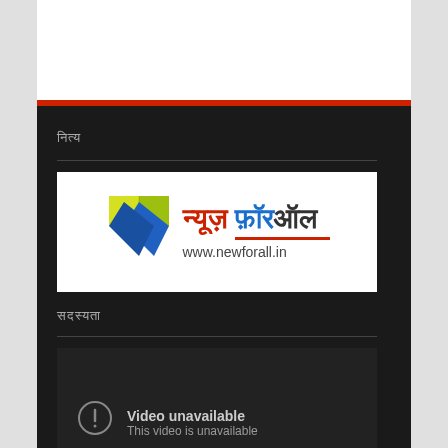[Figure (screenshot): Top white area with dark bottom border, part of a mobile/web UI]
[Figure (logo): News For All (न्यूज़ फ़ॉर ऑल) logo with diamond icon and www.newforall.in URL]
सदस्यता
Video unavailable
This video is unavailable